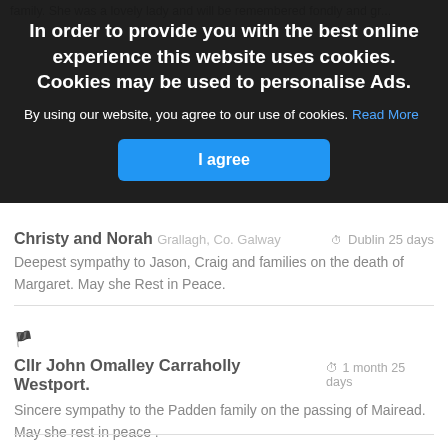family. She was a lovely lady and will be remembered fondly and gr...
In order to provide you with the best online experience this website uses cookies. Cookies may be used to personalise Ads.
By using our website, you agree to our use of cookies. Read More
I agree
Christy and Norah ... © Dublin 25 days
Deepest sympathy to Jason, Craig and families on the death of Margaret. May she Rest in Peace.
🏴
Cllr John Omalley Carraholly Westport.  © 1 month 25 days
Sincere sympathy to the Padden family on the passing of Mairead. May she rest in peace .